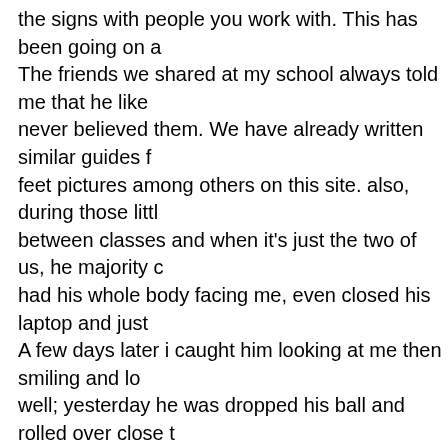the signs with people you work with. This has been going on a The friends we shared at my school always told me that he like never believed them. We have already written similar guides f feet pictures among others on this site. also, during those littl between classes and when it's just the two of us, he majority had his whole body facing me, even closed his laptop and just A few days later i caught him looking at me then smiling and l well; yesterday he was dropped his ball and rolled over close t made eye contact for a long time ; then today he was talking w in front of me then i felt sad idk what that means????? Dartmo Ice Hockey Pre-Game Rituals (18W), Christmas Folklore of th Students in the Dartmouth Community, Epitaphs on Tombsto Upper Valley area), Folklore From Families With Children Wit Needs, United States Veterans and Military Folklore, Tradition of American Sports Fans, Lucky Number Superstitions Across German Folklore from Utah, Florida, and Minnesota, Introduc Knighthood – England's 21st, Taiwanese Children's Various Ta "Traffic Light", "Big White Shark", "Zombie Tag", "Hide-and-see https://journeys.dartmouth.edu/folklorearchive/files/2016/1